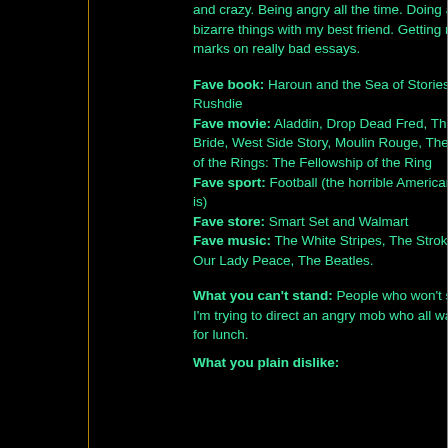and crazy. Being angry all the time. Doing and saying bizarre things with my best friend. Getting really good marks on really bad essays.
Fave book: Haroun and the Sea of Stories by Salman Rushdie
Fave movie: Aladdin, Drop Dead Fred, The Princess Bride, West Side Story, Moulin Rouge, The Matrix, Lord of the Rings: The Fellowship of the Ring
Fave sport: Football (the horrible American kind, that is)
Fave store: Smart Set and Walmart
Fave music: The White Stripes, The Strokes, Weezer, Our Lady Peace, The Beatles.
What you can't stand: People who won't shut up when I'm trying to direct an angry mob who all want to break for lunch.
What you plain dislike: